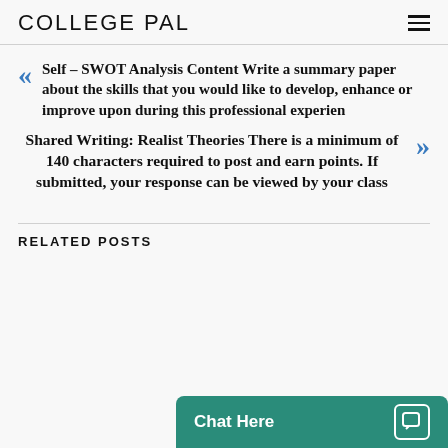COLLEGE PAL
Self – SWOT Analysis Content Write a summary paper about the skills that you would like to develop, enhance or improve upon during this professional experien
Shared Writing: Realist Theories There is a minimum of 140 characters required to post and earn points. If submitted, your response can be viewed by your class
RELATED POSTS
Chat Here